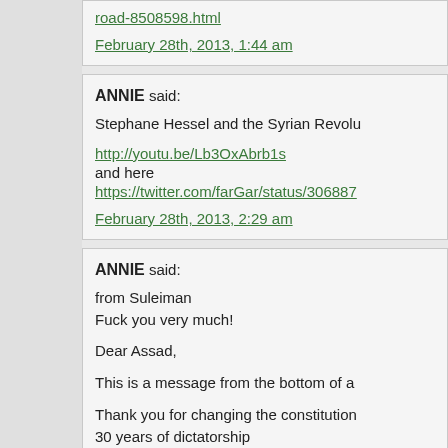road-8508598.html
February 28th, 2013, 1:44 am
ANNIE said:
Stephane Hessel and the Syrian Revolu…
http://youtu.be/Lb3OxAbrb1s
and here
https://twitter.com/farGar/status/306887…
February 28th, 2013, 2:29 am
ANNIE said:
from Suleiman
Fuck you very much!

Dear Assad,

This is a message from the bottom of a…

Thank you for changing the constitution… 30 years of dictatorship

Thank you for continuing your father's s… are not any different from your father

Thank you for killing Syria's thousands o…

Thank you for forcing all Syrian talents t…